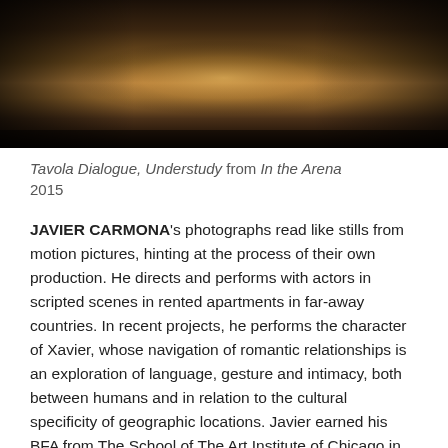[Figure (photo): Dark atmospheric photograph showing dramatic lighting on a surface, likely a stage or floor, with deep shadows and warm amber highlights. Part of the 'In the Arena' series by Javier Carmona.]
Tavola Dialogue, Understudy from In the Arena
2015
JAVIER CARMONA's photographs read like stills from motion pictures, hinting at the process of their own production. He directs and performs with actors in scripted scenes in rented apartments in far-away countries. In recent projects, he performs the character of Xavier, whose navigation of romantic relationships is an exploration of language, gesture and intimacy, both between humans and in relation to the cultural specificity of geographic locations. Javier earned his BFA from The School of The Art Institute of Chicago in 1994 and his MFA in Photography from The University of New Mexico in